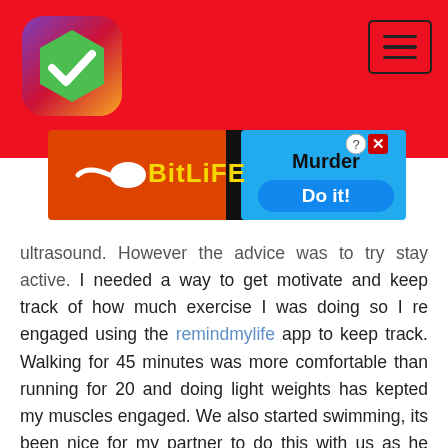[Figure (logo): RemindMyLife app logo - hexagon with green checkmark on gradient purple/red/orange background]
[Figure (screenshot): Hamburger menu icon (three horizontal lines) in a bordered box, top right corner on red background]
[Figure (screenshot): BitLife advertisement banner - orange/red section with BitLife sperm logo and text, blue section with Murder Do it! text]
ultrasound. However the advice was to try stay active. I needed a way to get motivate and keep track of how much exercise I was doing so I re engaged using the remindmylife app to keep track. Walking for 45 minutes was more comfortable than running for 20 and doing light weights has kepted my muscles engaged. We also started swimming, its been nice for my partner to do this with us as he also gets to experience the baby kicking with some tummy to tummy time.